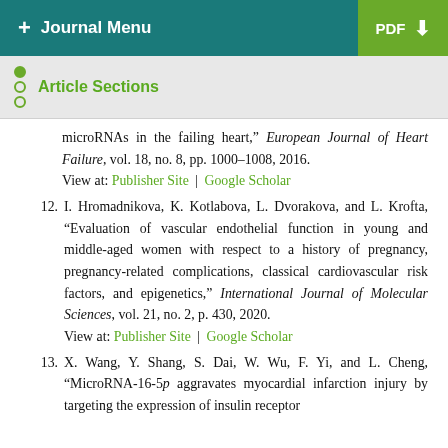+ Journal Menu | PDF
Article Sections
microRNAs in the failing heart," European Journal of Heart Failure, vol. 18, no. 8, pp. 1000–1008, 2016. View at: Publisher Site | Google Scholar
12. I. Hromadnikova, K. Kotlabova, L. Dvorakova, and L. Krofta, "Evaluation of vascular endothelial function in young and middle-aged women with respect to a history of pregnancy, pregnancy-related complications, classical cardiovascular risk factors, and epigenetics," International Journal of Molecular Sciences, vol. 21, no. 2, p. 430, 2020. View at: Publisher Site | Google Scholar
13. X. Wang, Y. Shang, S. Dai, W. Wu, F. Yi, and L. Cheng, "MicroRNA-16-5p aggravates myocardial infarction injury by targeting the expression of insulin receptor